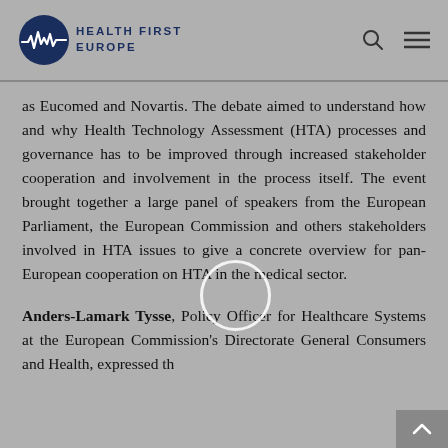Health First Europe
as Eucomed and Novartis. The debate aimed to understand how and why Health Technology Assessment (HTA) processes and governance has to be improved through increased stakeholder cooperation and involvement in the process itself. The event brought together a large panel of speakers from the European Parliament, the European Commission and others stakeholders involved in HTA issues to give a concrete overview for pan-European cooperation on HTA in the medical sector.
Anders-Lamark Tysse, Policy Officer for Healthcare Systems at the European Commission's Directorate General Consumers and Health, expressed th[at HTA]